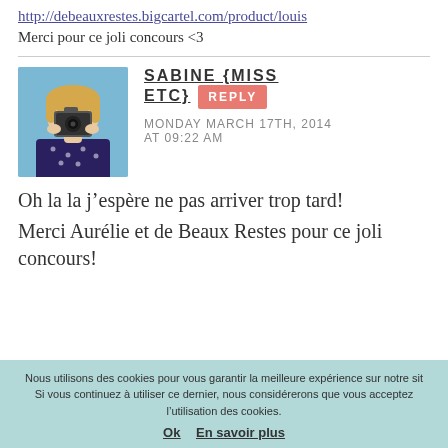http://debeauxrestes.bigcartel.com/product/louis
Merci pour ce joli concours <3
SABINE {MISS ETC}
MONDAY MARCH 17TH, 2014 AT 09:22 AM
[Figure (photo): Profile photo of a person holding a camera in front of their face, with blonde hair, blue background]
Oh la la j’espère ne pas arriver trop tard!
Merci Aurélie et de Beaux Restes pour ce joli concours!
Nous utilisons des cookies pour vous garantir la meilleure expérience sur notre sit. Si vous continuez à utiliser ce dernier, nous considérerons que vous acceptez l’utilisation des cookies.
Ok  En savoir plus